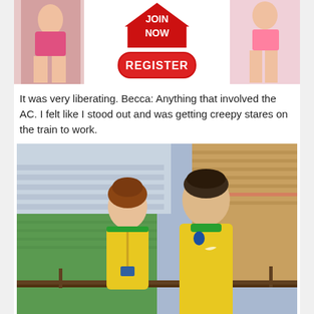[Figure (infographic): Advertisement banner with JOIN NOW button (red house/arrow shape) and REGISTER button (red rounded rectangle), flanked by two photos of women in bikinis]
It was very liberating. Becca: Anything that involved the AC. I felt like I stood out and was getting creepy stares on the train to work.
[Figure (photo): Two young people (a woman and a man) wearing yellow Brazil football jerseys at a large football stadium, smiling at the camera, with stadium seating visible in the background]